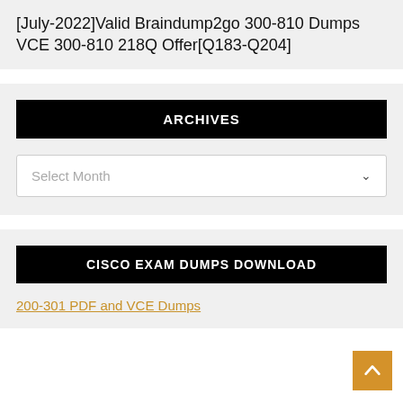[July-2022]Valid Braindump2go 300-810 Dumps VCE 300-810 218Q Offer[Q183-Q204]
ARCHIVES
Select Month
CISCO EXAM DUMPS DOWNLOAD
200-301 PDF and VCE Dumps